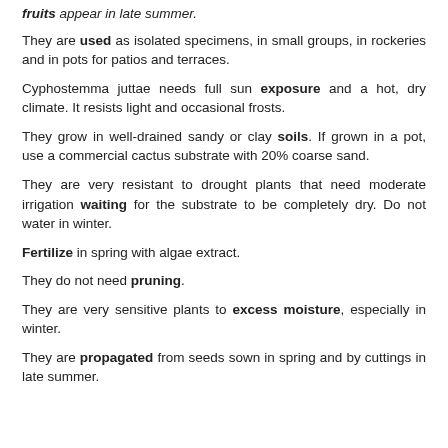fruits appear in late summer.
They are used as isolated specimens, in small groups, in rockeries and in pots for patios and terraces.
Cyphostemma juttae needs full sun exposure and a hot, dry climate. It resists light and occasional frosts.
They grow in well-drained sandy or clay soils. If grown in a pot, use a commercial cactus substrate with 20% coarse sand.
They are very resistant to drought plants that need moderate irrigation waiting for the substrate to be completely dry. Do not water in winter.
Fertilize in spring with algae extract.
They do not need pruning.
They are very sensitive plants to excess moisture, especially in winter.
They are propagated from seeds sown in spring and by cuttings in late summer.